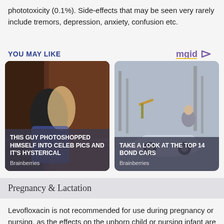phototoxicity (0.1%). Side-effects that may be seen very rarely include tremors, depression, anxiety, confusion etc.
YOU MAY LIKE
[Figure (illustration): Promotional widget with mgid logo and two content cards: (1) photo of two men sitting against a wall with caption 'THIS GUY PHOTOSHOPPED HIMSELF INTO CELEB PICS AND IT'S HYSTERICAL' from Brainberries; (2) photo of a man in suit leaning on a sports car with caption 'TAKE A LOOK AT THE TOP 14 BOND CARS' from Brainberries]
Pregnancy & Lactation
Levofloxacin is not recommended for use during pregnancy or nursing, as the effects on the unborn child or nursing infant are